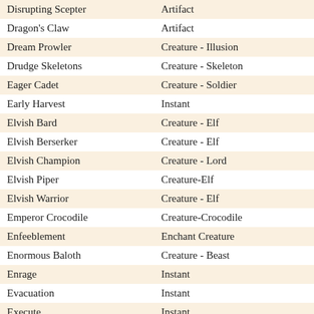| Name | Type |
| --- | --- |
| Disrupting Scepter | Artifact |
| Dragon's Claw | Artifact |
| Dream Prowler | Creature - Illusion |
| Drudge Skeletons | Creature - Skeleton |
| Eager Cadet | Creature - Soldier |
| Early Harvest | Instant |
| Elvish Bard | Creature - Elf |
| Elvish Berserker | Creature - Elf |
| Elvish Champion | Creature - Lord |
| Elvish Piper | Creature-Elf |
| Elvish Warrior | Creature - Elf |
| Emperor Crocodile | Creature-Crocodile |
| Enfeeblement | Enchant Creature |
| Enormous Baloth | Creature - Beast |
| Enrage | Instant |
| Evacuation | Instant |
| Execute | Instant |
| Exhaustion | Sorcery |
| Fear | Enchant Creature |
| Fellyus Stone | Artifact |